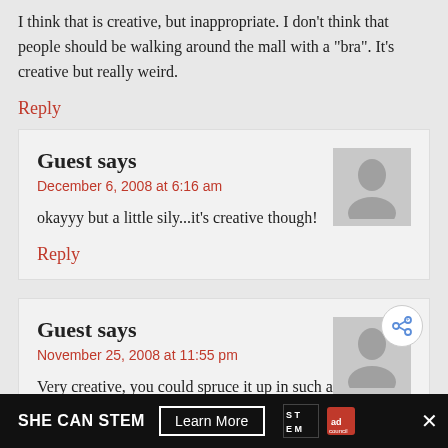I think that is creative, but inappropriate. I don't think that people should be walking around the mall with a "bra". It's creative but really weird.
Reply
Guest says
December 6, 2008 at 6:16 am
okayyy but a little sily...it's creative though!
Reply
Guest says
November 25, 2008 at 11:55 pm
Very creative, you could spruce it up in such a way that it would not look so much like a bra you are carrying and chances are no one will know what it is unless d...
WHAT'S NEXT → Knitted Twin Bears: Bill...
SHE CAN STEM  Learn More